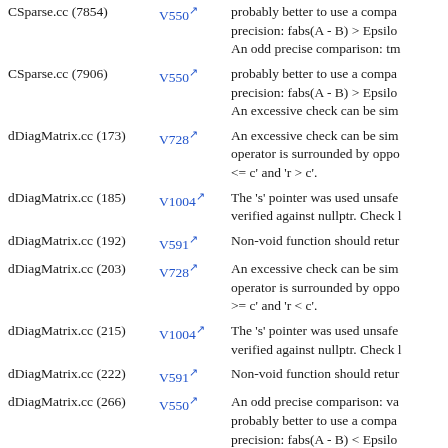| File | Code | Description |
| --- | --- | --- |
| CSparse.cc (7854) | V550 | probably better to use a comparison with defined precision: fabs(A - B) > Epsilon
An odd precise comparison: tm |
| CSparse.cc (7906) | V550 | probably better to use a comparison with defined precision: fabs(A - B) > Epsilon
An excessive check can be sim |
| dDiagMatrix.cc (173) | V728 | An excessive check can be simplified. The '&&' operator is surrounded by opposite expressions. Consider inspecting '<= c' and 'r > c'. |
| dDiagMatrix.cc (185) | V1004 | The 's' pointer was used unsafely after it was verified against nullptr. Check l |
| dDiagMatrix.cc (192) | V591 | Non-void function should retu |
| dDiagMatrix.cc (203) | V728 | An excessive check can be simplified. The '&&' operator is surrounded by opposite expressions. Consider inspecting '>= c' and 'r < c'. |
| dDiagMatrix.cc (215) | V1004 | The 's' pointer was used unsafely after it was verified against nullptr. Check l |
| dDiagMatrix.cc (222) | V591 | Non-void function should retu |
| dDiagMatrix.cc (266) | V550 | An odd precise comparison: va probably better to use a comparison with defined precision: fabs(A - B) < Epsilon |
| dDiagMatrix.cc (326) | V550 | An odd precise comparison: an probably better to use a comparison with defined precision: fabs(A - B) < Epsilon
An odd precise comparison: rco |
| dMatrix.cc (665) | V550 | probably better to use a compar |